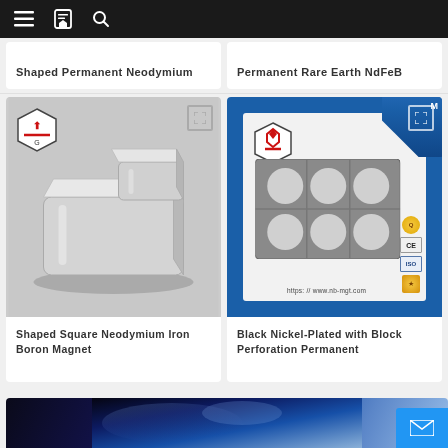Navigation bar with menu, bookmark, and search icons
Shaped Permanent Neodymium
Permanent Rare Earth NdFeB
[Figure (photo): Silver L-shaped or stepped neodymium iron boron magnet, nickel-plated, shown with company logo badge in top left corner]
Shaped Square Neodymium Iron Boron Magnet
[Figure (photo): Black nickel-plated rectangular block magnet with circular perforations, shown inside blue-bordered product card with certification badges (CE, ISO) and URL https://www.nb-mgt.com, with company logo badge]
Black Nickel-Plated with Block Perforation Permanent
[Figure (photo): Partial view of a dark blue/purple gradient product image at the bottom of the page]